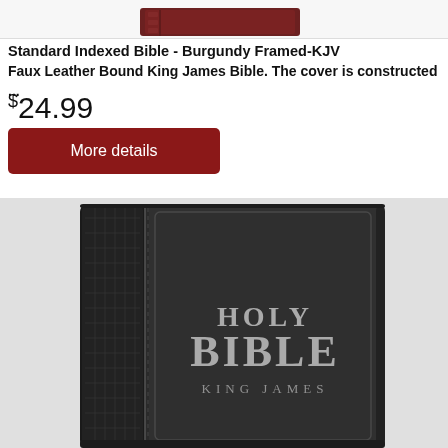[Figure (photo): Top portion of a burgundy Bible product photo, showing the bottom edge of the book]
Standard Indexed Bible - Burgundy Framed-KJV
Faux Leather Bound King James Bible. The cover is constructed ...
$24.99
More details
[Figure (photo): Dark charcoal/black faux leather Holy Bible King James Version with decorative spine pattern showing 'HOLY BIBLE KING JAMES' text on cover]